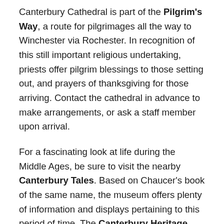Canterbury Cathedral is part of the Pilgrim's Way, a route for pilgrimages all the way to Winchester via Rochester. In recognition of this still important religious undertaking, priests offer pilgrim blessings to those setting out, and prayers of thanksgiving for those arriving. Contact the cathedral in advance to make arrangements, or ask a staff member upon arrival.
For a fascinating look at life during the Middle Ages, be sure to visit the nearby Canterbury Tales. Based on Chaucer's book of the same name, the museum offers plenty of information and displays pertaining to this period of time. The Canterbury Heritage Museum is also worth visiting, which includes an authentic medieval hospital.